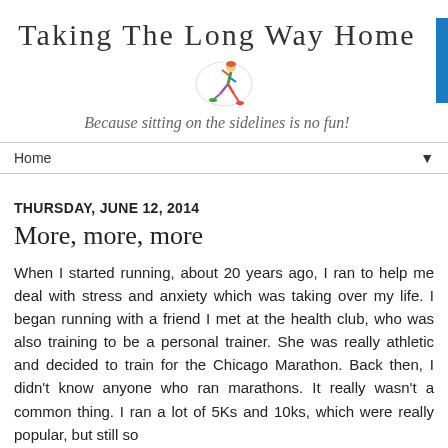Taking the Long Way Home
[Figure (illustration): Colorful cartoon figure of a runner in motion, circular light background]
Because sitting on the sidelines is no fun!
Home
THURSDAY, JUNE 12, 2014
More, more, more
When I started running, about 20 years ago, I ran to help me deal with stress and anxiety which was taking over my life. I began running with a friend I met at the health club, who was also training to be a personal trainer. She was really athletic and decided to train for the Chicago Marathon. Back then, I didn't know anyone who ran marathons. It really wasn't a common thing. I ran a lot of 5Ks and 10ks, which were really popular, but still so